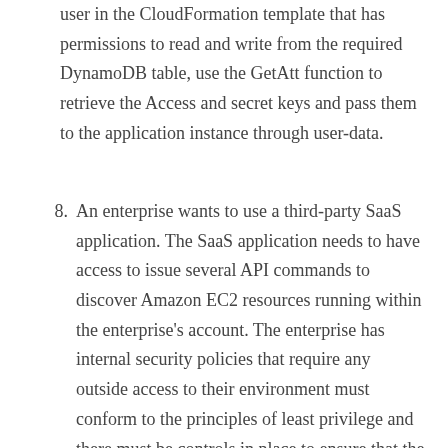user in the CloudFormation template that has permissions to read and write from the required DynamoDB table, use the GetAtt function to retrieve the Access and secret keys and pass them to the application instance through user-data.
8. An enterprise wants to use a third-party SaaS application. The SaaS application needs to have access to issue several API commands to discover Amazon EC2 resources running within the enterprise's account. The enterprise has internal security policies that require any outside access to their environment must conform to the principles of least privilege and there must be controls in place to ensure that the credentials used by the SaaS vendor cannot be used by any other third party. Which of the following would